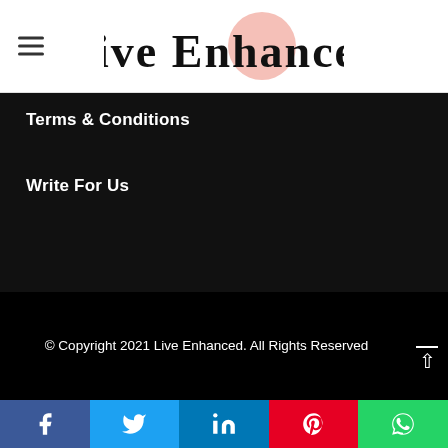Live Enhanced
Terms & Conditions
Write For Us
© Copyright 2021 Live Enhanced. All Rights Reserved